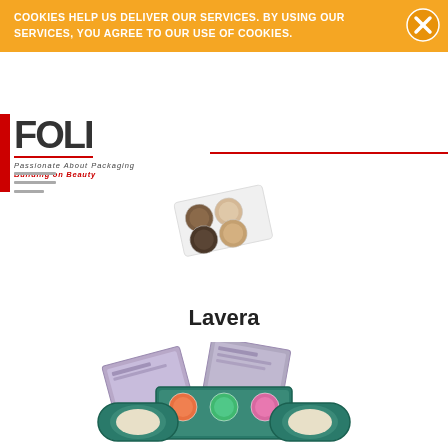COOKIES HELP US DELIVER OUR SERVICES. BY USING OUR SERVICES, YOU AGREE TO OUR USE OF COOKIES.
[Figure (logo): FOLI logo with taglines 'Passionate About Packaging' and 'Building on Beauty']
[Figure (photo): Eyeshadow quad palette with four pans in brown/beige/dark tones on white background]
Lavera
[Figure (photo): Lavera branded makeup palette set including purple/teal eye shadow compacts with multiple pans, displayed open and closed]